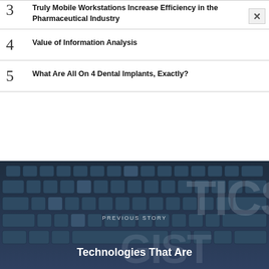3  Truly Mobile Workstations Increase Efficiency in the Pharmaceutical Industry
4  Value of Information Analysis
5  What Are All On 4 Dental Implants, Exactly?
PREVIOUS STORY
Technologies That Are